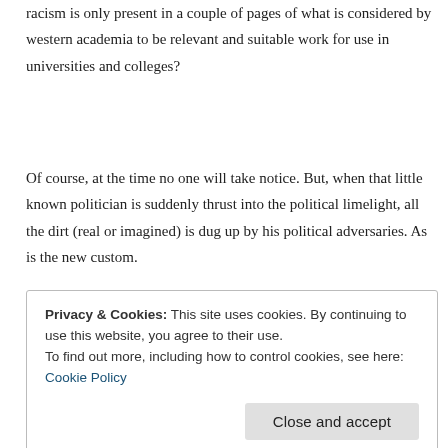racism is only present in a couple of pages of what is considered by western academia to be relevant and suitable work for use in universities and colleges?
Of course, at the time no one will take notice. But, when that little known politician is suddenly thrust into the political limelight, all the dirt (real or imagined) is dug up by his political adversaries. As is the new custom.
Imagine as well a celebrity pop-star or footballer criticising a country for its record on human rights, and being hauled through the press-backed social-media kangaroo-courts on the assumed basis that their
Privacy & Cookies: This site uses cookies. By continuing to use this website, you agree to their use.
To find out more, including how to control cookies, see here: Cookie Policy
and publicly pilloried for their comedy.